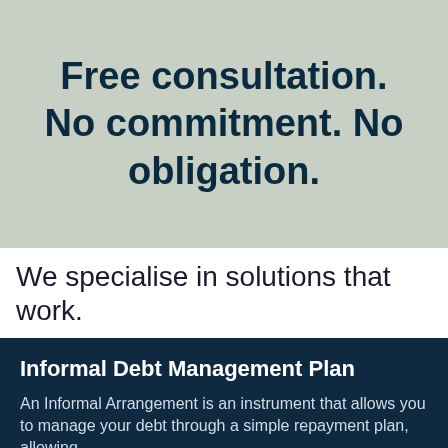Free consultation. No commitment. No obligation.
We specialise in solutions that work.
Informal Debt Management Plan
An Informal Arrangement is an instrument that allows you to manage your debt through a simple repayment plan, allowing